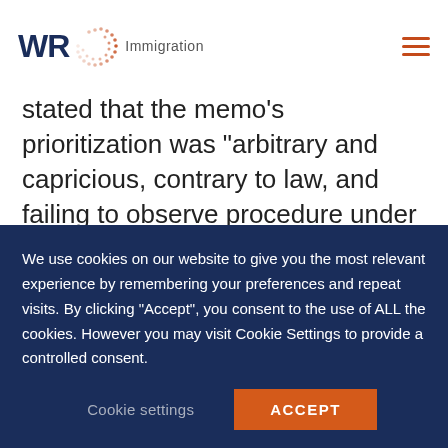WR Immigration
stated that the memo’s prioritization was “arbitrary and capricious, contrary to law, and failing to observe procedure under the Administrative Procedure Act.” Judge Drew Tipton said the core of the dispute was “whether the Executive Branch may require its officials to act in a manner that conflicts with a statutory mandate imposed by
We use cookies on our website to give you the most relevant experience by remembering your preferences and repeat visits. By clicking “Accept”, you consent to the use of ALL the cookies. However you may visit Cookie Settings to provide a controlled consent.
Cookie settings  ACCEPT